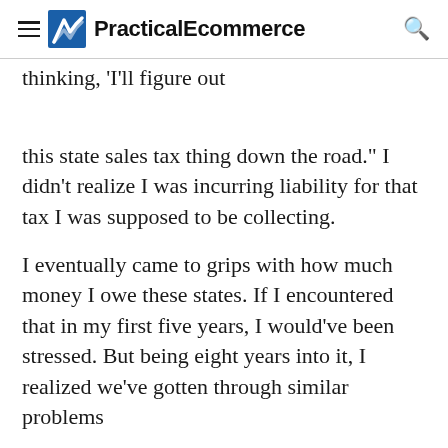PracticalEcommerce
thinking, 'I'll figure out this state sales tax thing down the road.' I didn't realize I was incurring liability for that tax I was supposed to be collecting.
I eventually came to grips with how much money I owe these states. If I encountered that in my first five years, I would've been stressed. But being eight years into it, I realized we've gotten through similar problems